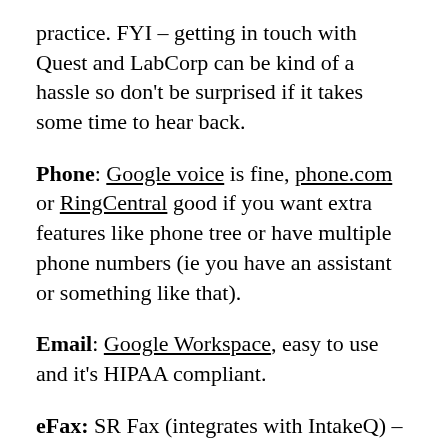practice. FYI – getting in touch with Quest and LabCorp can be kind of a hassle so don't be surprised if it takes some time to hear back.
Phone: Google voice is fine, phone.com or RingCentral good if you want extra features like phone tree or have multiple phone numbers (ie you have an assistant or something like that).
Email: Google Workspace, easy to use and it's HIPAA compliant.
eFax: SR Fax (integrates with IntakeQ) –